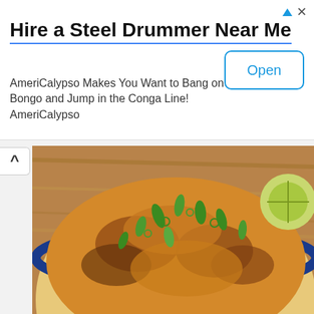[Figure (infographic): Advertisement banner: 'Hire a Steel Drummer Near Me' with subtitle 'AmeriCalypso Makes You Want to Bang on a Bongo and Jump in the Conga Line! AmeriCalypso' and an 'Open' button]
[Figure (photo): Close-up photo of a food dish in a blue-rimmed striped bowl, topped with green onions on a wooden surface]
Don't think we get to dine-in anytime soon. Even eating at restaurants has become extinct at this point
[Figure (photo): Photo of vertical corrugated metal panels in light gray tones, partially visible]